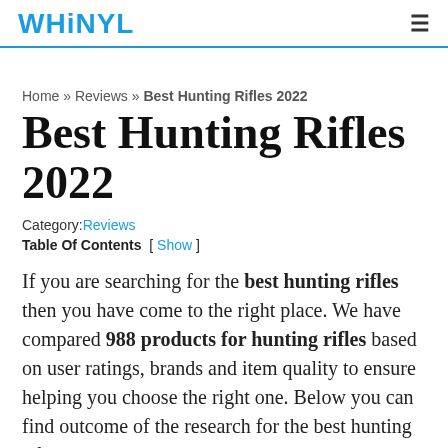WHINYL [hamburger menu icon]
Home » Reviews » Best Hunting Rifles 2022
Best Hunting Rifles 2022
Category: Reviews
Table Of Contents [ Show ]
If you are searching for the best hunting rifles then you have come to the right place. We have compared 988 products for hunting rifles based on user ratings, brands and item quality to ensure helping you choose the right one. Below you can find outcome of the research for the best hunting rifles currenty available.